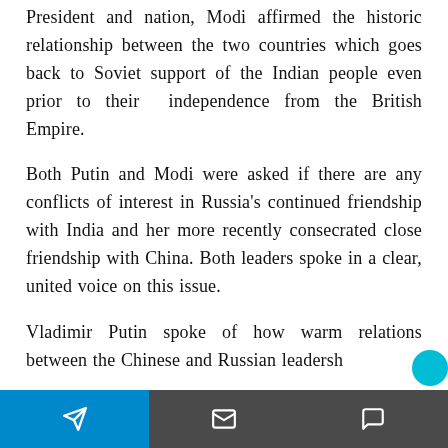President and nation, Modi affirmed the historic relationship between the two countries which goes back to Soviet support of the Indian people even prior to their independence from the British Empire.
Both Putin and Modi were asked if there are any conflicts of interest in Russia's continued friendship with India and her more recently consecrated close friendship with China. Both leaders spoke in a clear, united voice on this issue.
Vladimir Putin spoke of how warm relations between the Chinese and Russian leadersh...